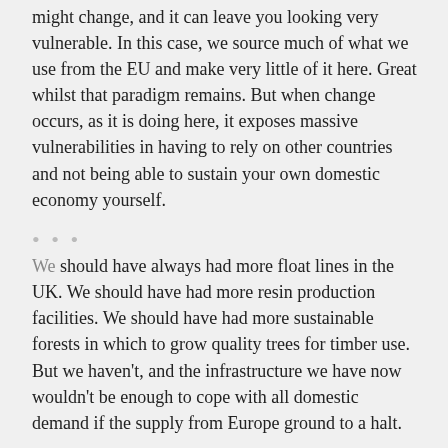might change, and it can leave you looking very vulnerable. In this case, we source much of what we use from the EU and make very little of it here. Great whilst that paradigm remains. But when change occurs, as it is doing here, it exposes massive vulnerabilities in having to rely on other countries and not being able to sustain your own domestic economy yourself.
We should have always had more float lines in the UK. We should have had more resin production facilities. We should have had more sustainable forests in which to grow quality trees for timber use. But we haven't, and the infrastructure we have now wouldn't be enough to cope with all domestic demand if the supply from Europe ground to a halt.
That being said, whilst there is a sliver of time left, companies who can seek out UK supply of the goods they need should be doing it now. Try and put into place supply deals that start around Brexit day and last for a good 3-6 months. It may not be a permanent solution, but anything that could help reduce the disruption to the supply chain would be helpful.